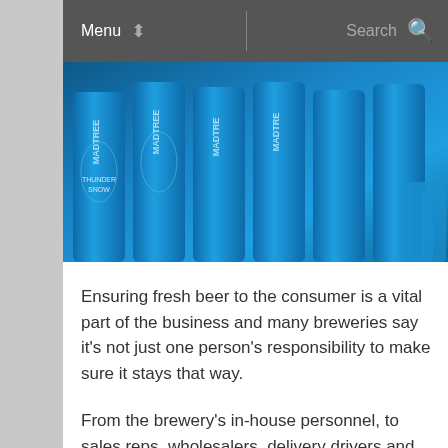Menu  Search
[Figure (photo): Blue MadTree Brewing cans labeled 'Thunder Snow' arranged in rows, color is bright blue with tree design.]
Ensuring fresh beer to the consumer is a vital part of the business and many breweries say it's not just one person's responsibility to make sure it stays that way.
From the brewery's in-house personnel, to sales reps, wholesalers, delivery drivers and even retail and on-premise sellers, keeping that quality is paramount to repeat sales.
“It’s a partnership,” said MadTree Brewing co-founder Brady Duncan. “Our distributors are physically taking orders but our brewery reps also get in, to give matter-based recall”